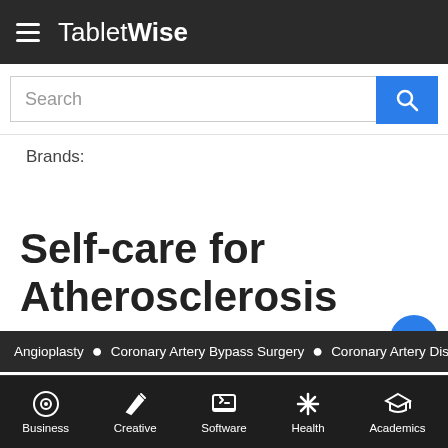TabletWise
Search
Brands:
Self-care for Atherosclerosis
The following self-care actions or lifestyle changes
Angioplasty • Coronary Artery Bypass Surgery • Coronary Artery Disease
Business Creative Software Health Academics